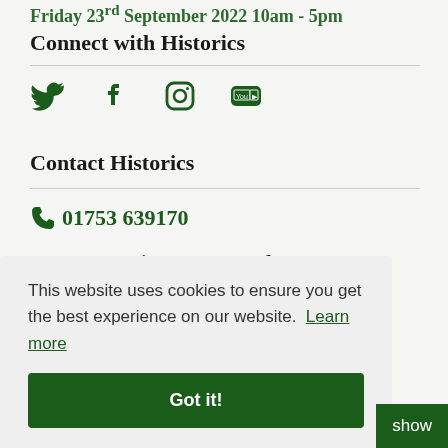Friday 23rd September 2022 10am - 5pm
Connect with Historics
[Figure (other): Social media icons: Twitter, Facebook, Instagram, YouTube in dark green]
Contact Historics
01753 639170
Message us via our contact form
This website uses cookies to ensure you get the best experience on our website. Learn more
Got it!
show